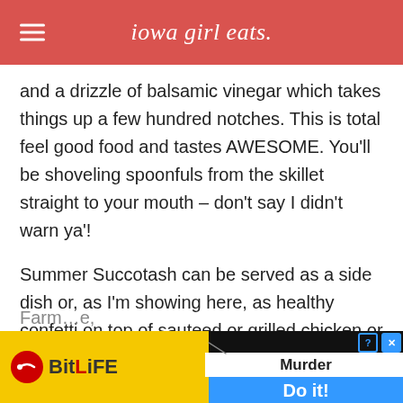iowa girl eats.
and a drizzle of balsamic vinegar which takes things up a few hundred notches. This is total feel good food and tastes AWESOME. You'll be shoveling spoonfuls from the skillet straight to your mouth – don't say I didn't warn ya'!
Summer Succotash can be served as a side dish or, as I'm showing here, as healthy confetti on top of sauteed or grilled chicken or pork. Stock up on fresh produce at the
Farm...e,
[Figure (screenshot): BitLife mobile advertisement banner with yellow background, red circular logo, 'Murder Do it!' text, and blue button]